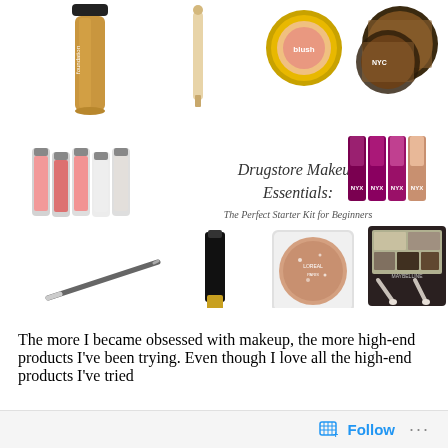[Figure (photo): Collage of drugstore makeup products including foundation, concealer, blush compact, bronzer compacts, lip glosses, NYX lipsticks, eyeliner pencil, mascara, glitter eyeshadow pot, and eyeshadow palette, with handwritten-style title text overlaid: 'Drugstore Makeup Essentials: The Perfect Starter Kit for Beginners']
The more I became obsessed with makeup, the more high-end products I've been trying. Even though I love all the high-end products I've tried
Follow ...